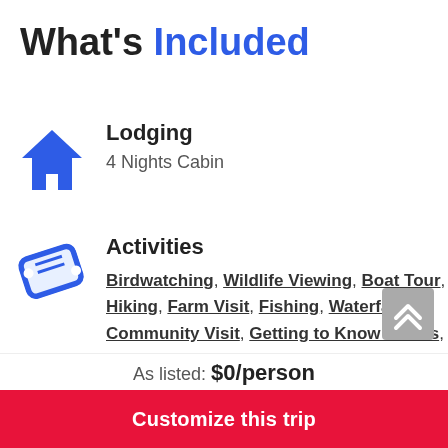What's Included
Lodging
4 Nights Cabin
Activities
Birdwatching, Wildlife Viewing, Boat Tour, Hiking, Farm Visit, Fishing, Waterfalls, Community Visit, Getting to Know Locals, Swimming, Cabin and Night Tour
Guide
As listed: $0/person
Customize this trip